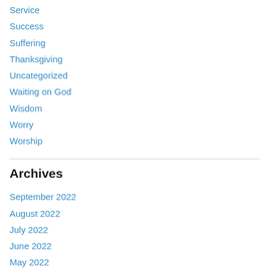Service
Success
Suffering
Thanksgiving
Uncategorized
Waiting on God
Wisdom
Worry
Worship
Archives
September 2022
August 2022
July 2022
June 2022
May 2022
April 2022
March 2022